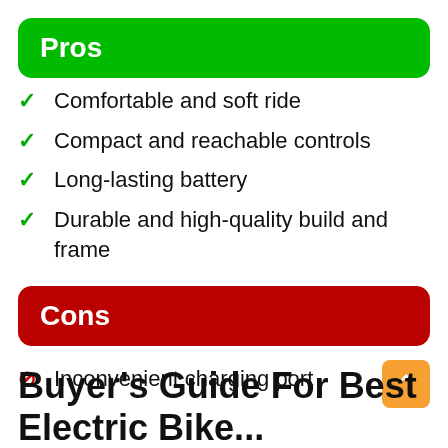Pros
Comfortable and soft ride
Compact and reachable controls
Long-lasting battery
Durable and high-quality build and frame
Cons
Inconvenient charging port
Buyer's Guide For Best Electric Bike...